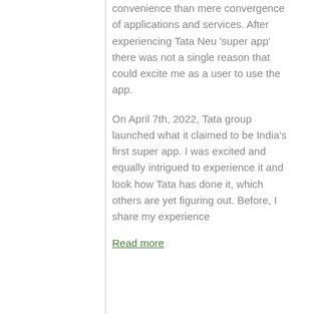convenience than mere convergence of applications and services. After experiencing Tata Neu 'super app' there was not a single reason that could excite me as a user to use the app.
On April 7th, 2022, Tata group launched what it claimed to be India's first super app. I was excited and equally intrigued to experience it and look how Tata has done it, which others are yet figuring out. Before, I share my experience
Read more